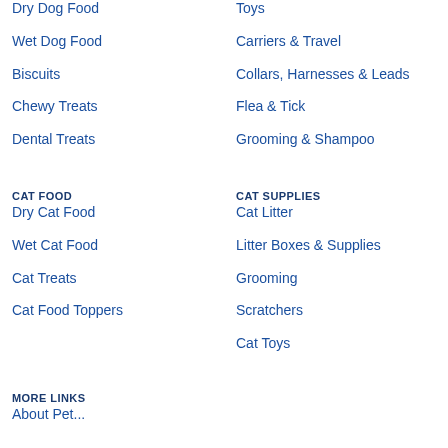Dry Dog Food
Toys
Wet Dog Food
Carriers & Travel
Biscuits
Collars, Harnesses & Leads
Chewy Treats
Flea & Tick
Dental Treats
Grooming & Shampoo
CAT FOOD
CAT SUPPLIES
Dry Cat Food
Cat Litter
Wet Cat Food
Litter Boxes & Supplies
Cat Treats
Grooming
Cat Food Toppers
Scratchers
Cat Toys
MORE LINKS
About Pet...